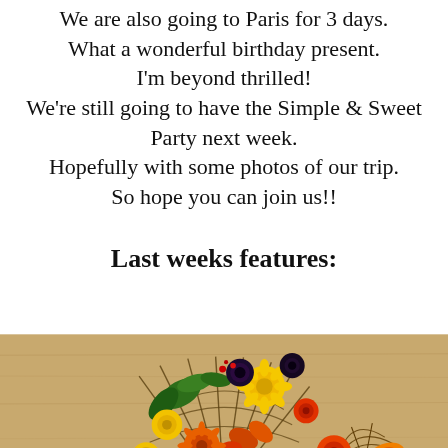We are also going to Paris for 3 days. What a wonderful birthday present. I'm beyond thrilled! We're still going to have the Simple & Sweet Party next week. Hopefully with some photos of our trip. So hope you can join us!!
Last weeks features:
[Figure (photo): A colorful autumn/fall floral arrangement with orange, yellow, black, and green flowers, leaves, and a wicker/wire fan-shaped basket, on a wooden surface.]